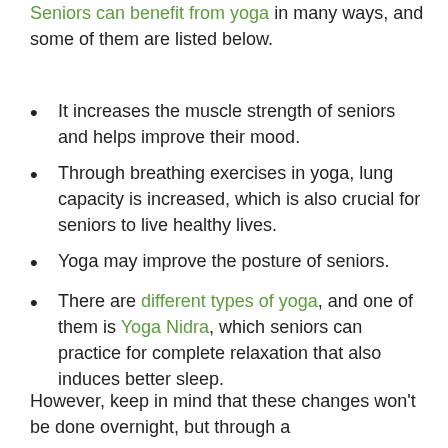Seniors can benefit from yoga in many ways, and some of them are listed below.
It increases the muscle strength of seniors and helps improve their mood.
Through breathing exercises in yoga, lung capacity is increased, which is also crucial for seniors to live healthy lives.
Yoga may improve the posture of seniors.
There are different types of yoga, and one of them is Yoga Nidra, which seniors can practice for complete relaxation that also induces better sleep.
However, keep in mind that these changes won't be done overnight, but through a